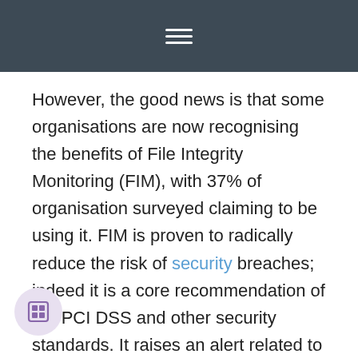≡
However, the good news is that some organisations are now recognising the benefits of File Integrity Monitoring (FIM), with 37% of organisation surveyed claiming to be using it. FIM is proven to radically reduce the risk of security breaches; indeed it is a core recommendation of the PCI DSS and other security standards. It raises an alert related to any change in underlying, core file systems – whether that has been achieved by an inside man or an unwittingly phished employee introducing malware, or some other zero day threat blasting unrecognised through the AV.